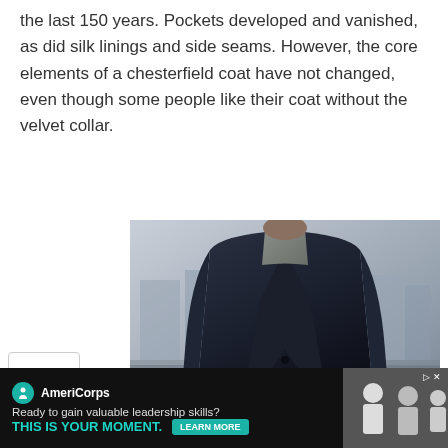the last 150 years. Pockets developed and vanished, as did silk linings and side seams. However, the core elements of a chesterfield coat have not changed, even though some people like their coat without the velvet collar.
[Figure (photo): A headless man wearing a dark navy chesterfield coat over a grey turtleneck, buttoning the coat with both hands, standing on a rooftop or terrace with blurred urban buildings in the background.]
[Figure (screenshot): Advertisement banner for AmeriCorps with dark background. Logo shows a teal circle with a figure icon. Text reads: 'AmeriCorps / Ready to gain valuable leadership skills? / THIS IS YOUR MOMENT.' with a 'LEARN MORE' teal button. Right side shows a partial image of people.]